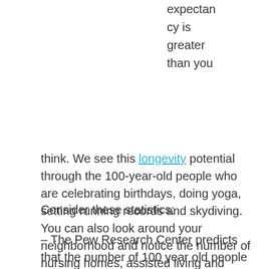expectancy is greater than you think. We see this longevity potential through the 100-year-old people who are celebrating birthdays, doing yoga, setting running records and skydiving. You can also look around your neighborhood and notice the number of nursing homes, assisted living and Alzheimer's care centers that are popping up.
Consider these statistics:
– The Pew Research Center predicts that the number of 100 year old people will increase by 800 percent between now and 2050.